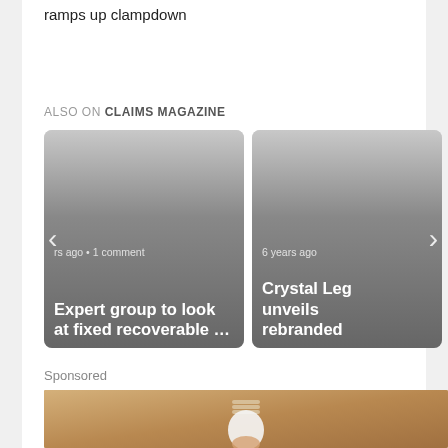ramps up clampdown
ALSO ON CLAIMS MAGAZINE
[Figure (screenshot): Two article cards side by side. Left card: navigation arrow left, text 'rs ago • 1 comment', title 'Expert group to look at fixed recoverable …'. Right card: navigation arrow right, text '6 years ago', title 'Crystal Leg unveils rebranded'.]
Sponsored
[Figure (photo): A hand holding a light bulb against a ceiling background.]